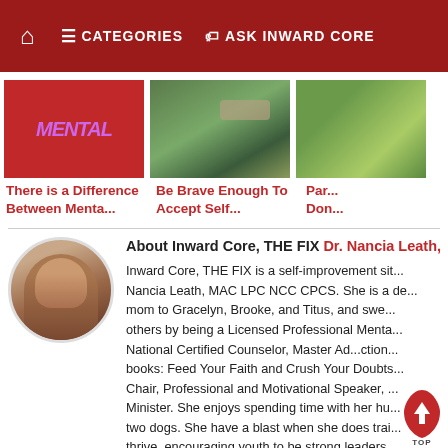Home | CATEGORIES | ASK INWARD CORE
[Figure (screenshot): Article thumbnail with red background and purple/pink MENTAL text]
[Figure (photo): Outdoor photo with person's arm and greenery]
[Figure (photo): Partial article thumbnail with green/yellow background]
There is a Difference Between Menta...
Be Brave Enough To Accept Self...
Par... Don...
[Figure (photo): Circular profile photo of Dr. Nancia Leath, a woman smiling]
About Inward Core, THE FIX Dr. Nancia Leath, Inward Core, THE FIX is a self-improvement site... Nancia Leath, MAC LPC NCC CPCS. She is a de... mom to Gracelyn, Brooke, and Titus, and swe... others by being a Licensed Professional Menta... National Certified Counselor, Master Ad...ction... books: Feed Your Faith and Crush Your Doubts... Chair, Professional and Motivational Speaker, ... Minister. She enjoys spending time with her hu... two dogs. She have a blast when she does trai... thrive, encouraging youth to be strong leaders...